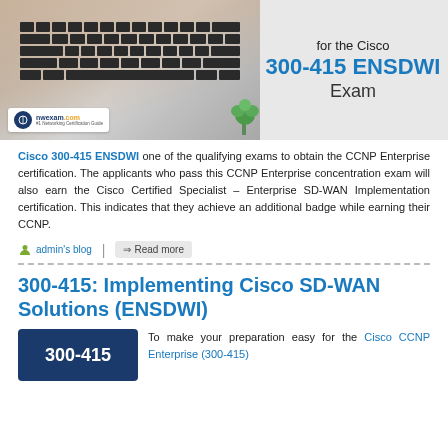[Figure (photo): Banner image showing hands typing on a laptop keyboard with nwexam.com logo in bottom left. Right side shows text: 'for the Cisco 300-415 ENSDWI Exam']
Cisco 300-415 ENSDWI one of the qualifying exams to obtain the CCNP Enterprise certification. The applicants who pass this CCNP Enterprise concentration exam will also earn the Cisco Certified Specialist – Enterprise SD-WAN Implementation certification. This indicates that they achieve an additional badge while earning their CCNP.
admin's blog | Read more
300-415: Implementing Cisco SD-WAN Solutions (ENSDWI)
To make your preparation easy for the Cisco CCNP Enterprise (300-415)